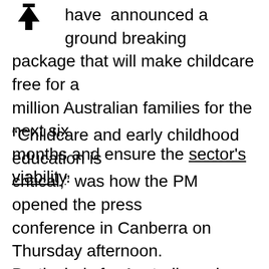[Figure (other): Small black icon/logo at top left (partially visible)]
have announced a ground breaking package that will make childcare free for a million Australian families for the next six months and ensure the sector's viability.
“Childcare and early childhood education is critical,” was how the PM opened the press conference in Canberra on Thursday afternoon. Particularly for Australians, he continued, who rely on it to go to work everyday. Not just the more obvious ‘essential’ workers who are nurses or doctors but for the cleaners in hospitals and the truck drivers who ensure food is stocked in supermarkets.